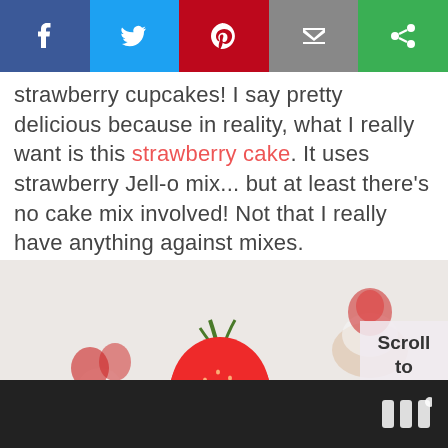[Figure (other): Social media share bar with Facebook (blue), Twitter (cyan), Pinterest (red), Email (grey), and another share option (green) buttons with white icons]
strawberry cupcakes! I say pretty delicious because in reality, what I really want is this strawberry cake. It uses strawberry Jell-o mix... but at least there's no cake mix involved! Not that I really have anything against mixes.
[Figure (photo): Close-up photo of strawberry cupcakes with white frosting, colorful sprinkles, and fresh strawberries on top. A large strawberry is in sharp focus in the foreground, with blurred cupcakes in the background.]